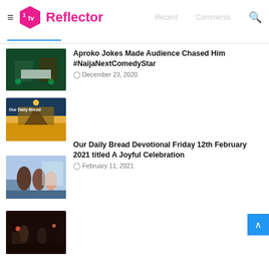TV Reflector
Recent  Comments
[Figure (photo): Two people on stage at a show with green lighting and a large cheque]
Aproko Jokes Made Audience Chased Him #NaijaNextComedyStar
December 23, 2020
[Figure (photo): Our Daily Bread devotional image with mountain and sunset landscape]
Our Daily Bread Devotional Friday 12th February 2021 titled A Joyful Celebration
February 11, 2021
[Figure (photo): BBNaija housemates at a jacuzzi party]
BBNaija Angel Comes Out Raw With Sammie After Jacuzzi Party
July 31, 2021
[Figure (photo): People at a birthday celebration in a dimly lit venue]
Erica's Birthday Kiddwaya 'Proposes Guess Who?  [Video]
March 13, 2021